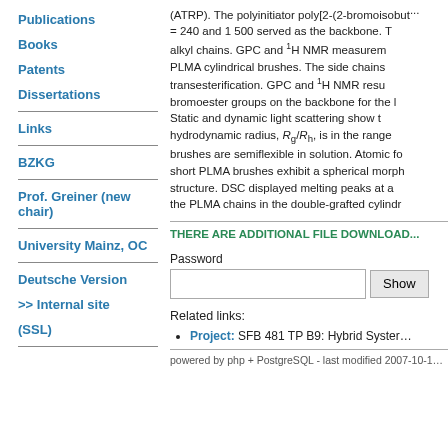Publications
Books
Patents
Dissertations
Links
BZKG
Prof. Greiner (new chair)
University Mainz, OC
Deutsche Version
>> Internal site
(SSL)
(ATRP). The polyinitiator poly[2-(2-bromoisobutryloxy)ethyl methacrylate] with DP = 240 and 1 500 served as the backbone. The macroinitiator contains 2-bromoester alkyl chains. GPC and 1H NMR measurements confirmed the formation of double-grafted PLMA cylindrical brushes. The side chains were introduced by esterification and transesterification. GPC and 1H NMR results showed that the number of reactive bromoester groups on the backbone for the PLMA grafting reaction was very high (>80%). Static and dynamic light scattering show that the ratio of the gyration radius to the hydrodynamic radius, Rg/Rh, is in the range 1.4-1.6, revealing that the cylindrical brushes are semiflexible in solution. Atomic force microscopy shows the PLMA brushes with short PLMA brushes exhibit a spherical morphology, while longer PLMA brushes exhibit a worm-like structure. DSC displayed melting peaks at a temperature of about 38 °C, indicating that the PLMA chains in the double-grafted cylindr...
THERE ARE ADDITIONAL FILE DOWNLOADS FOR THIS PUBLICATION
Password
Related links:
Project: SFB 481 TP B9: Hybrid Systems
powered by php + PostgreSQL - last modified 2007-10-1...